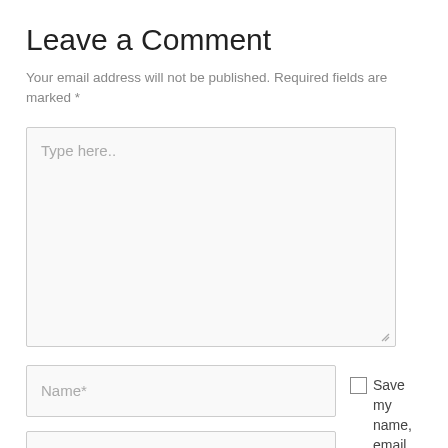Leave a Comment
Your email address will not be published. Required fields are marked *
[Figure (other): Large text area input box with placeholder text 'Type here..' and a resize handle at the bottom right corner]
[Figure (other): Form fields: Name* input box and Email* input box on the left, with a checkbox and label 'Save my name, email, and website in this' on the right]